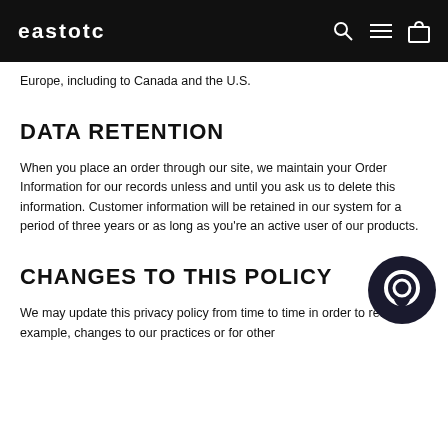eastotc
Europe, including to Canada and the U.S.
DATA RETENTION
When you place an order through our site, we maintain your Order Information for our records unless and until you ask us to delete this information. Customer information will be retained in our system for a period of three years or as long as you're an active user of our products.
CHANGES TO THIS POLICY
We may update this privacy policy from time to time in order to reflect, for example, changes to our practices or for other